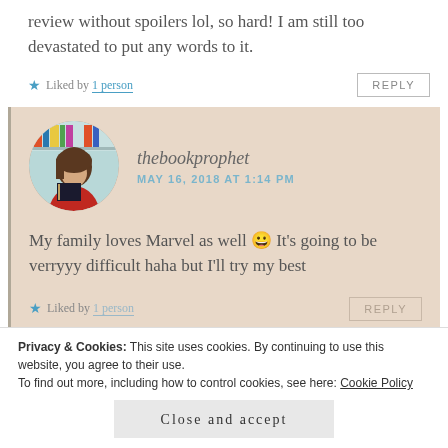review without spoilers lol, so hard! I am still too devastated to put any words to it.
★ Liked by 1 person
thebookprophet
MAY 16, 2018 AT 1:14 PM
My family loves Marvel as well 😀 It's going to be verryyy difficult haha but I'll try my best
★ Liked by 1 person
Privacy & Cookies: This site uses cookies. By continuing to use this website, you agree to their use. To find out more, including how to control cookies, see here: Cookie Policy
Close and accept